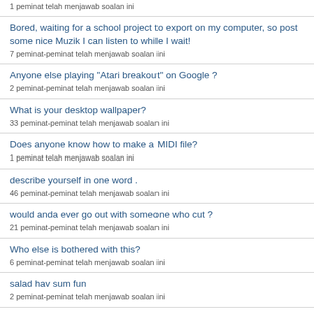1 peminat telah menjawab soalan ini
Bored, waiting for a school project to export on my computer, so post some nice Muzik I can listen to while I wait!
7 peminat-peminat telah menjawab soalan ini
Anyone else playing "Atari breakout" on Google ?
2 peminat-peminat telah menjawab soalan ini
What is your desktop wallpaper?
33 peminat-peminat telah menjawab soalan ini
Does anyone know how to make a MIDI file?
1 peminat telah menjawab soalan ini
describe yourself in one word .
46 peminat-peminat telah menjawab soalan ini
would anda ever go out with someone who cut ?
21 peminat-peminat telah menjawab soalan ini
Who else is bothered with this?
6 peminat-peminat telah menjawab soalan ini
salad hav sum fun
2 peminat-peminat telah menjawab soalan ini
lemme know what your dream car is?